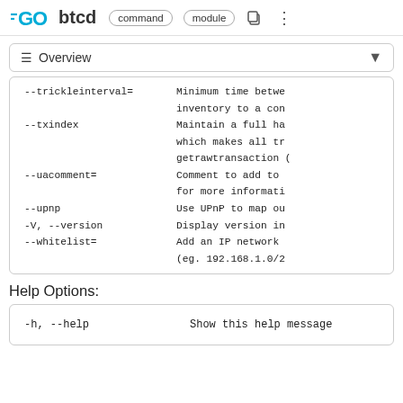GO btcd command module
≡ Overview
--trickleinterval=    Minimum time betwe inventory to a con
--txindex             Maintain a full ha which makes all tr gerawtransaction (
--uacomment=          Comment to add to for more informati
--upnp                Use UPnP to map ou
-V, --version         Display version in
--whitelist=          Add an IP network (eg. 192.168.1.0/2
Help Options:
-h, --help            Show this help message